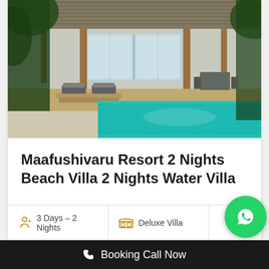[Figure (photo): Resort villa with private plunge pool — thatched roof building with glass doors, outdoor lounge chairs on stone patio, turquoise pool in foreground, tropical trees on sides]
Maafushivaru Resort 2 Nights Beach Villa 2 Nights Water Villa
3 Days – 2 Nights
Deluxe Villa
Booking Call Now